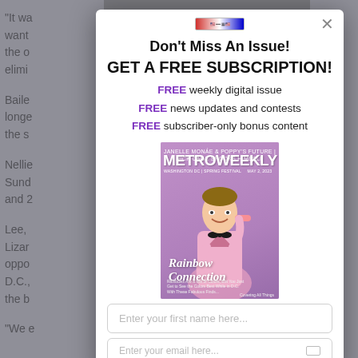"It wa... want... had the o... elimi...
Baile... longe... ar the s... in."
Nellie... Sund... n K and 2... eas.
Lee,... Lizar... oppo... k to D.C.,... to the b...
"We e...
Don't Miss An Issue!
GET A FREE SUBSCRIPTION!
FREE weekly digital issue
FREE news updates and contests
FREE subscriber-only bonus content
[Figure (illustration): Cover of Metro Weekly magazine featuring a man in a pink sequined tuxedo jacket with bow tie, holding pink glasses, with text 'Rainbow Connection']
Enter your first name here...
Enter your email here...